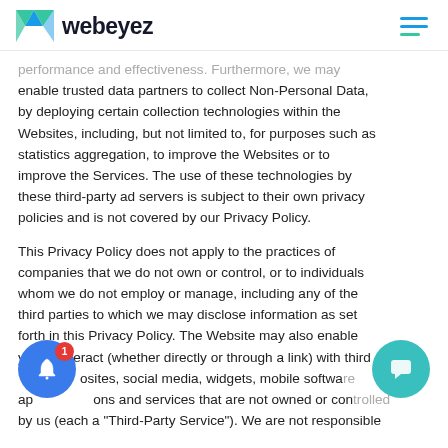webeyez
performance and effectiveness. Furthermore, we may enable trusted data partners to collect Non-Personal Data, by deploying certain collection technologies within the Websites, including, but not limited to, for purposes such as statistics aggregation, to improve the Websites or to improve the Services. The use of these technologies by these third-party ad servers is subject to their own privacy policies and is not covered by our Privacy Policy.
This Privacy Policy does not apply to the practices of companies that we do not own or control, or to individuals whom we do not employ or manage, including any of the third parties to which we may disclose information as set forth in this Privacy Policy. The Website may also enable you to interact (whether directly or through a link) with third party websites, social media, widgets, mobile software applications and services that are not owned or controlled by us (each a "Third-Party Service"). We are not responsible